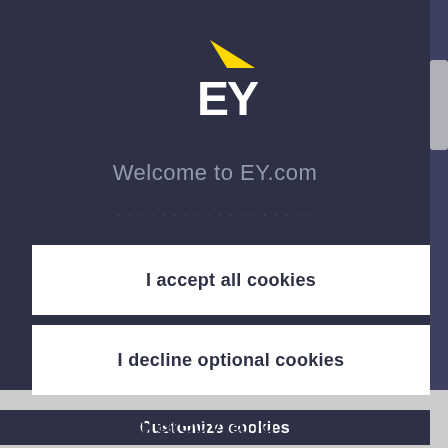[Figure (logo): EY logo with yellow triangular swoosh above white EY text on dark navy background]
Welcome to EY.com
I accept all cookies
I decline optional cookies
Customize cookies
What EY Strategy and